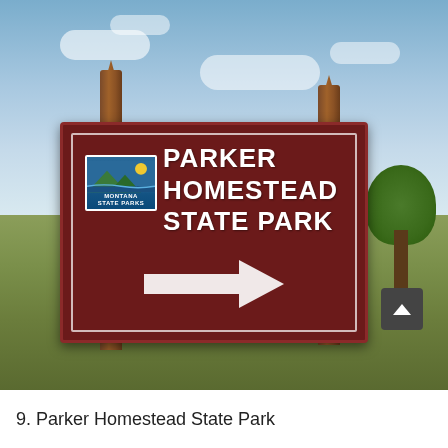[Figure (photo): Photograph of a dark red/maroon roadside sign reading 'PARKER HOMESTEAD STATE PARK' with a right-pointing arrow, mounted on wooden posts. A Montana State Parks logo appears in the upper left of the sign. Sky with clouds visible in background, prairie landscape below, trees on the right.]
9. Parker Homestead State Park